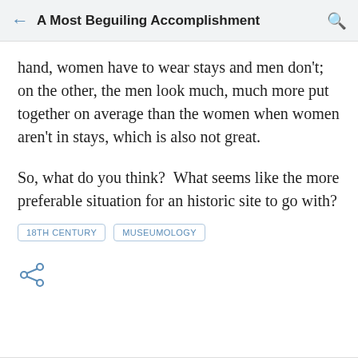A Most Beguiling Accomplishment
hand, women have to wear stays and men don't; on the other, the men look much, much more put together on average than the women when women aren't in stays, which is also not great.
So, what do you think?  What seems like the more preferable situation for an historic site to go with?
18TH CENTURY
MUSEUMOLOGY
[Figure (other): Share icon (less-than symbol style share button)]